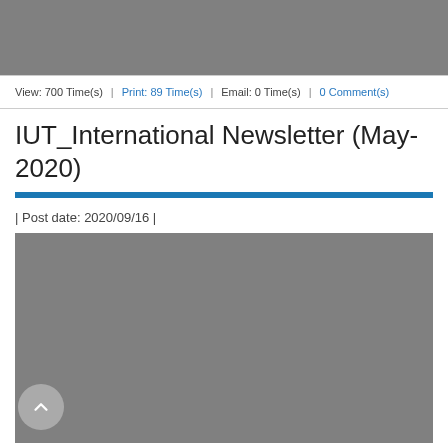[Figure (photo): Gray placeholder image at top of page]
View: 700 Time(s)  |  Print: 89 Time(s)  |  Email: 0 Time(s)  |  0 Comment(s)
IUT_International Newsletter (May-2020)
| Post date: 2020/09/16 |
[Figure (photo): Gray placeholder image below post date]